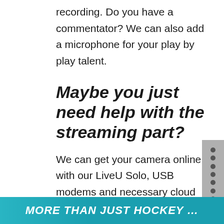recording.  Do you have a commentator? We can also add a microphone for your play by play talent.
Maybe you just need help with the streaming part?
We can get your camera online with our LiveU Solo, USB modems and necessary cloud plans.  Contact us to discuss a solution!
MORE THAN JUST HOCKEY …